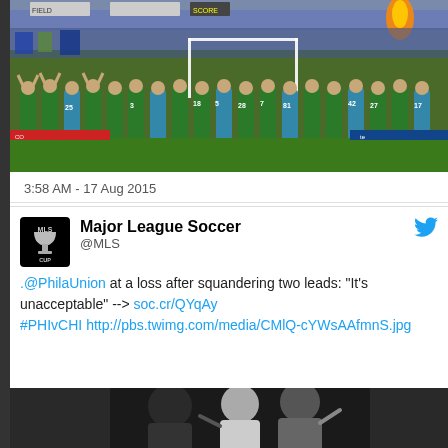[Figure (photo): Soccer players in green jerseys with arms raised facing a packed stadium crowd, with fireworks/flares visible]
3:58 AM - 17 Aug 2015
[Figure (logo): MLS Cup logo — black square with MLS Cup trophy icon and text]
Major League Soccer
@MLS
.@PhilaUnion at a loss after squandering two leads: "It's unacceptable" --> soc.cr/QYqAy #PHIvCHI http://pbs.twimg.com/media/CMlQ-cYWsAAfmnS.jpg
[Figure (photo): Black and white photo of soccer players competing for the ball]